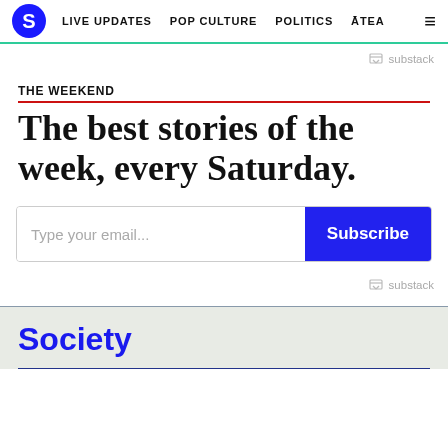S | LIVE UPDATES  POP CULTURE  POLITICS  ĀTEA  ≡
substack
THE WEEKEND
The best stories of the week, every Saturday.
Type your email...  Subscribe
substack
Society